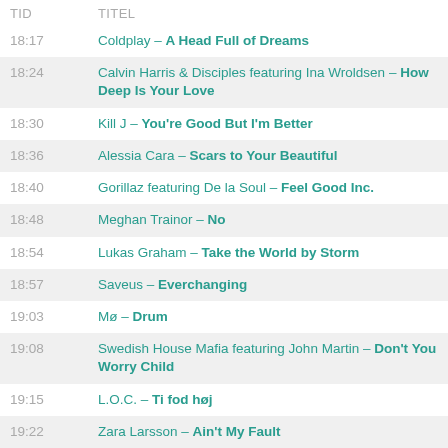| TID | TITEL |
| --- | --- |
| 18:17 | Coldplay – A Head Full of Dreams |
| 18:24 | Calvin Harris & Disciples featuring Ina Wroldsen – How Deep Is Your Love |
| 18:30 | Kill J – You're Good But I'm Better |
| 18:36 | Alessia Cara – Scars to Your Beautiful |
| 18:40 | Gorillaz featuring De la Soul – Feel Good Inc. |
| 18:48 | Meghan Trainor – No |
| 18:54 | Lukas Graham – Take the World by Storm |
| 18:57 | Saveus – Everchanging |
| 19:03 | Mø – Drum |
| 19:08 | Swedish House Mafia featuring John Martin – Don't You Worry Child |
| 19:15 | L.O.C. – Ti fod høj |
| 19:22 | Zara Larsson – Ain't My Fault |
| 19:26 | The 1975 – The Sound |
| 19:33 | M.I.A. – Bad Girls |
| 19:38 | Trentemøller – River in Me |